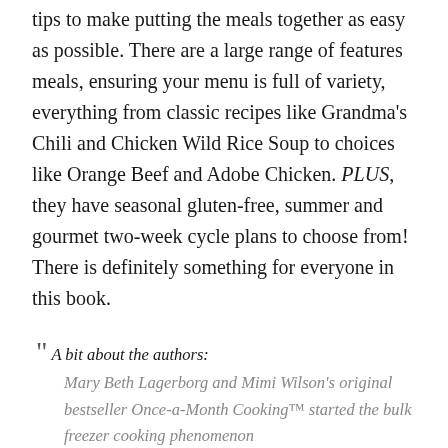tips to make putting the meals together as easy as possible. There are a large range of features meals, ensuring your menu is full of variety, everything from classic recipes like Grandma's Chili and Chicken Wild Rice Soup to choices like Orange Beef and Adobe Chicken. PLUS, they have seasonal gluten-free, summer and gourmet two-week cycle plans to choose from! There is definitely something for everyone in this book.
" A bit about the authors: Mary Beth Lagerborg and Mimi Wilson's original bestseller Once-a-Month Cooking™ started the bulk freezer cooking phenomenon